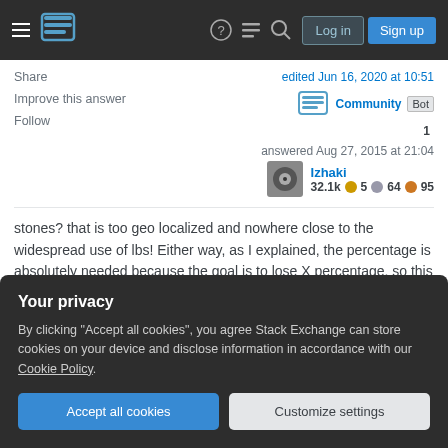Stack Exchange navigation bar with Log in and Sign up buttons
Share
Improve this answer
Follow
edited Jun 16, 2020 at 10:51
Community Bot
1
answered Aug 27, 2015 at 21:04
Izhaki
32.1k ◉5 ◎64 ◈95
stones? that is too geo localized and nowhere close to the widespread use of lbs! Either way, as I explained, the percentage is absolutely needed because the goal is to lose X percentage, so this is the correct metric
Your privacy
By clicking "Accept all cookies", you agree Stack Exchange can store cookies on your device and disclose information in accordance with our Cookie Policy.
Accept all cookies
Customize settings